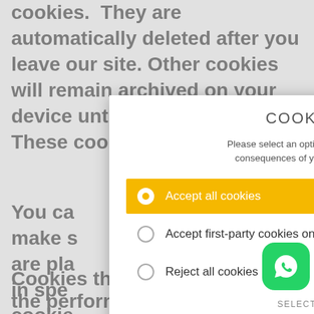cookies.  They are automatically deleted after you leave our site. Other cookies will remain archived on your device until you delete them. These cookies enable  time you vis
[Figure (screenshot): Cookie Preference modal dialog overlay on a webpage. The modal has title 'COOKIE PREFERENCE', a description with links to Help, Privacy policy and Imprint, three radio button options: 'Accept all cookies' (selected, highlighted in yellow/gold), 'Accept first-party cookies only', and 'Reject all cookies'. Below the options is a 'SELECT AN OPTION TO CONTINUE' button and a 'MORE INFORMATION' link.]
You ca  o make s  okies are pla  s only in spe  e of cookie  nd to activat  en you close y  the functio
[Figure (infographic): Social media sharing icons: Facebook (blue), Twitter (light blue), Pinterest (red), Email (teal/cyan), and WhatsApp (green) buttons at the bottom of the page.]
Cookies that are required for the performance of